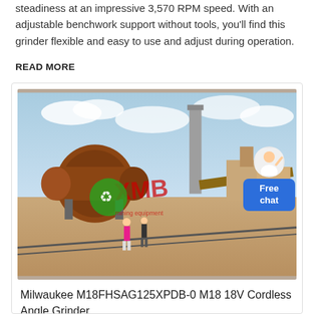steadiness at an impressive 3,570 RPM speed. With an adjustable benchwork support without tools, you'll find this grinder flexible and easy to use and adjust during operation.
READ MORE
[Figure (photo): Industrial site with large cylindrical mill equipment, conveyor belts, workers in foreground, tall chimney stack in background. Watermark: XMB mining equipment logo in green and red.]
Milwaukee M18FHSAG125XPDB-0 M18 18V Cordless Angle Grinder ...